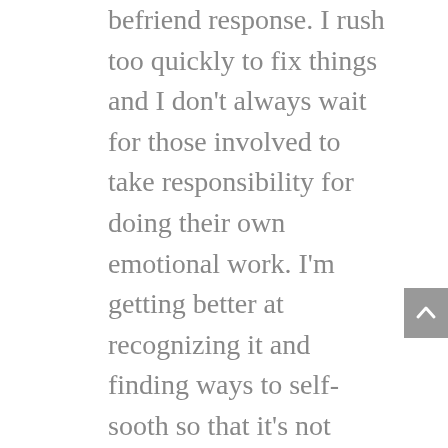befriend response. I rush too quickly to fix things and I don't always wait for those involved to take responsibility for doing their own emotional work. I'm getting better at recognizing it and finding ways to self-sooth so that it's not destructive to me or my children, but I'm not foolish enough to think the problem is fixed. I'm still actively working to heal it and release it from my body.

How then, do we as caregivers and advocates stay in the work for